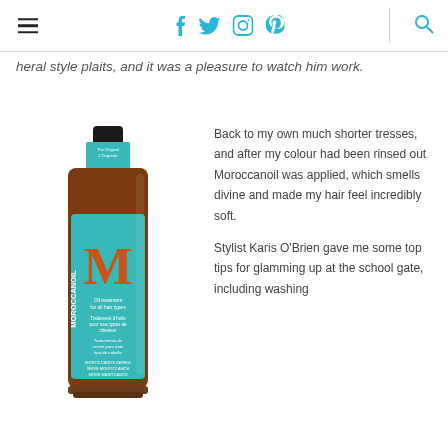Navigation bar with hamburger menu, social icons (Facebook, Twitter, Instagram, Pinterest), and search icon
heral style plaits, and it was a pleasure to watch him work.
[Figure (photo): Moroccanoil Oil Treatment product bottle — amber glass bottle with teal/turquoise label featuring a large orange M logo, text reading MOROCCANOIL, The Original / L'Originale, Oil treatment for all hair types, Traitement d'huile pour tous types de cheveux, Tratamiento de aceite para todo tipo de cabello, MOROCCANOS SERIES]
Back to my own much shorter tresses, and after my colour had been rinsed out Moroccanoil was applied, which smells divine and made my hair feel incredibly soft.
Stylist Karis O'Brien gave me some top tips for glamming up at the school gate, including washing